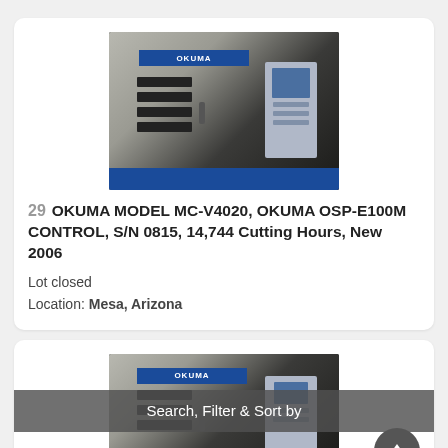[Figure (photo): Okuma CNC machining center model MC-V4020, large white and blue horizontal machining center with Okuma OSP-E100M control panel on the right side, dark industrial warehouse background]
29  OKUMA MODEL MC-V4020, OKUMA OSP-E100M CONTROL, S/N 0815, 14,744 Cutting Hours, New 2006
Lot closed
Location: Mesa, Arizona
[Figure (photo): Second Okuma CNC machining center, similar white and blue horizontal machining center, partially obscured by Search Filter & Sort by overlay bar and scroll-to-top button]
Search, Filter & Sort by